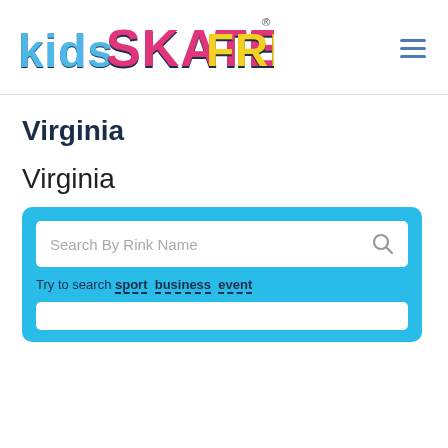[Figure (logo): Kids Skate Free logo with colorful text: 'kids' in blue, 'SKATE' in pink/magenta, 'FREE' in yellow, all with dark outlines and cartoon style. Registered trademark symbol in top right.]
Virginia
Virginia
Search By Rink Name
Try to search sport business event